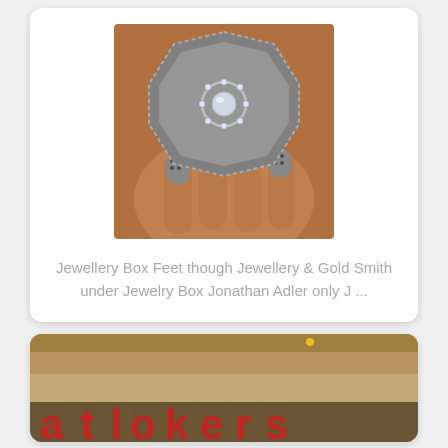[Figure (photo): A hand with dark polka-dot painted nails holding an octagonal gray velvet ring box containing a diamond/crystal ring with halo setting]
Jewellery Box Feet though Jewellery & Gold Smith under Jewelry Box Jonathan Adler only J ...
[Figure (photo): Interior of a store at night showing partial illuminated red signage text, beige/brown ceiling and store exterior]